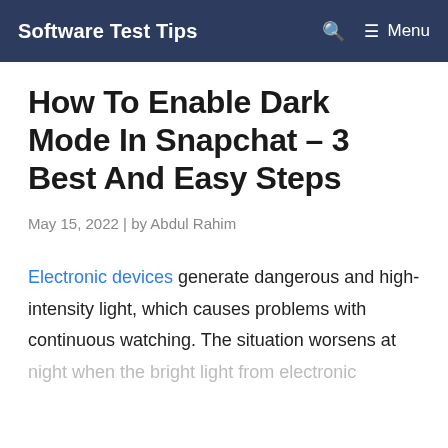Software Test Tips | Menu
How To Enable Dark Mode In Snapchat – 3 Best And Easy Steps
May 15, 2022 | by Abdul Rahim
Electronic devices generate dangerous and high-intensity light, which causes problems with continuous watching. The situation worsens at night when the bright light from electronic gadgets puts a lot of eye strain